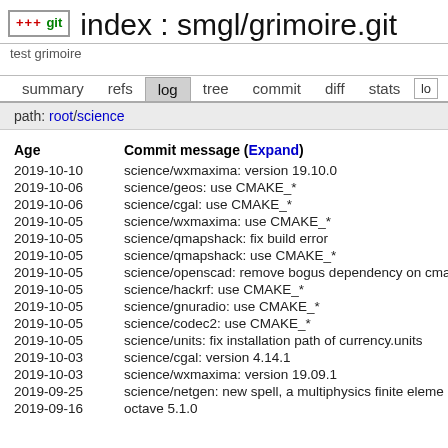index : smgl/grimoire.git
test grimoire
summary   refs   log   tree   commit   diff   stats   lo
path: root/science
| Age | Commit message (Expand) |
| --- | --- |
| 2019-10-10 | science/wxmaxima: version 19.10.0 |
| 2019-10-06 | science/geos: use CMAKE_* |
| 2019-10-06 | science/cgal: use CMAKE_* |
| 2019-10-05 | science/wxmaxima: use CMAKE_* |
| 2019-10-05 | science/qmapshack: fix build error |
| 2019-10-05 | science/qmapshack: use CMAKE_* |
| 2019-10-05 | science/openscad: remove bogus dependency on cma |
| 2019-10-05 | science/hackrf: use CMAKE_* |
| 2019-10-05 | science/gnuradio: use CMAKE_* |
| 2019-10-05 | science/codec2: use CMAKE_* |
| 2019-10-05 | science/units: fix installation path of currency.units |
| 2019-10-03 | science/cgal: version 4.14.1 |
| 2019-10-03 | science/wxmaxima: version 19.09.1 |
| 2019-09-25 | science/netgen: new spell, a multiphysics finite eleme |
| 2019-09-16 | octave 5.1.0 |